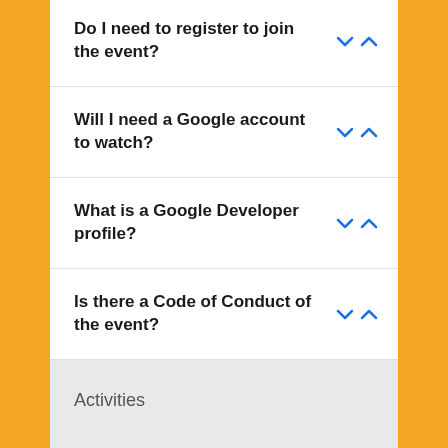Do I need to register to join the event?
Will I need a Google account to watch?
What is a Google Developer profile?
Is there a Code of Conduct of the event?
Activities